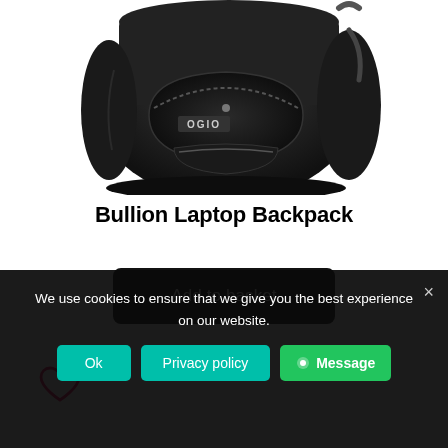[Figure (photo): A black OGIO Bullion Laptop Backpack photographed against a white background, showing the front and side of the bag with visible zipper pockets and the OGIO logo.]
Bullion Laptop Backpack
Add to basket
We use cookies to ensure that we give you the best experience on our website.
Ok   Privacy policy   Message